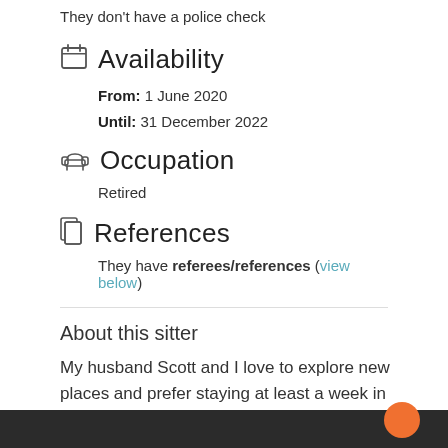They don't have a police check
Availability
From: 1 June 2020
Until: 31 December 2022
Occupation
Retired
References
They have referees/references (view below)
About this sitter
My husband Scott and I love to explore new places and prefer staying at least a week in one place and